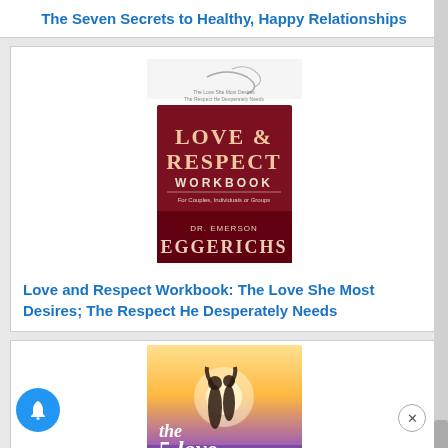The Seven Secrets to Healthy, Happy Relationships
[Figure (illustration): Book cover of 'Love & Respect Workbook' by Dr. Emerson Eggerichs — dark red/maroon cover with 'Love & Respect Workbook For Couples, Individuals or Groups' text and subtitle 'The Love She Most Desires; The Respect He Desperately Needs']
Love and Respect Workbook: The Love She Most Desires; The Respect He Desperately Needs
[Figure (illustration): Book cover of 'The 5 Love Languages' — showing a couple silhouetted against a bright sky, with '5 love Languages' text and subtitle 'The Secret to Love That Lasts']